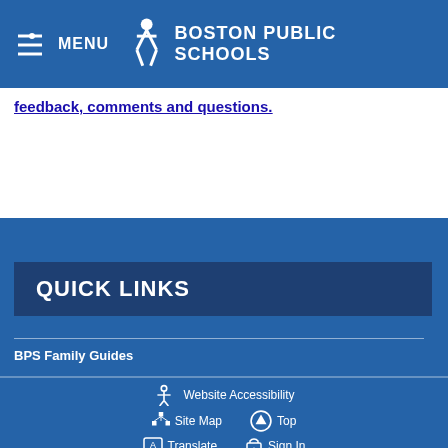MENU  BOSTON PUBLIC SCHOOLS
feedback, comments and questions.
QUICK LINKS
BPS Family Guides
Website Accessibility  Site Map  Top  Translate  Sign In